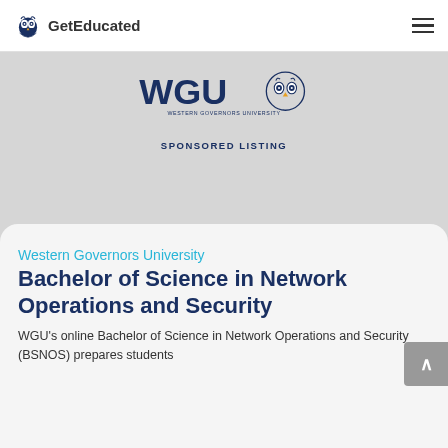GetEducated
[Figure (logo): WGU Western Governors University logo with owl icon]
SPONSORED LISTING
Western Governors University Bachelor of Science in Network Operations and Security
WGU's online Bachelor of Science in Network Operations and Security (BSNOS) prepares students